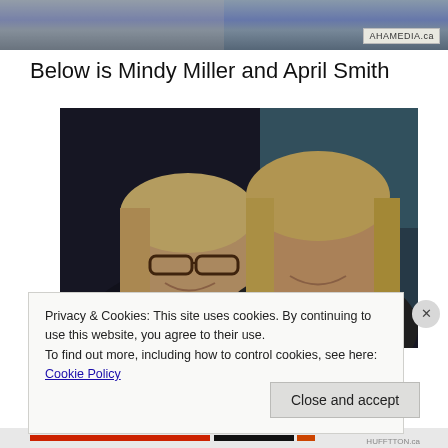[Figure (photo): Partial photo visible at top of page, cropped, showing people standing, with AHAMEDIA.ca watermark badge in corner]
Below is Mindy Miller and April Smith
[Figure (photo): Photo of two blonde women smiling together; left woman wearing glasses and dark top, right woman with longer hair and plaid top]
Privacy & Cookies: This site uses cookies. By continuing to use this website, you agree to their use.
To find out more, including how to control cookies, see here: Cookie Policy
Close and accept